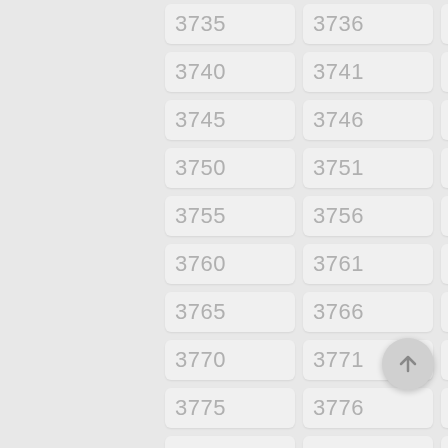3735, 3736, 3737, 3738, 3739, 3740, 3741, 3742, 3743, 3744, 3745, 3746, 3747, 3748, 3749, 3750, 3751, 3752, 3753, 3754, 3755, 3756, 3757, 3758, 3759, 3760, 3761, 3762, 3763, 3764, 3765, 3766, 3767, 3768, 3769, 3770, 3771, 3772, 3773, 3774, 3775, 3776, 3777, 3778, 3779, 3780, 3781, 3782, 3783, 3784, 3785, 3786, 3787, 3788, 3789
[Figure (other): Scroll-to-top floating action button with upward arrow icon]